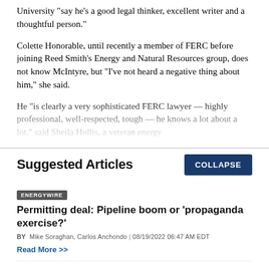University "say he's a good legal thinker, excellent writer and a thoughtful person."
Colette Honorable, until recently a member of FERC before joining Reed Smith's Energy and Natural Resources group, does not know McIntyre, but "I've not heard a negative thing about him," she said.
He "is clearly a very sophisticated FERC lawyer — highly professional, well-respected, tough — he knows a lot about a lot," said Sheila Hollis, a veteran energy
Suggested Articles
ENERGYWIRE
Permitting deal: Pipeline boom or 'propaganda exercise?'
BY Mike Soraghan, Carlos Anchondo | 08/19/2022 06:47 AM EDT
Read More >>
ENERGYWIRE
Climate law may undermine Biden court win on oil leasing